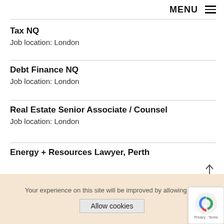MENU
Tax NQ
Job location: London
Debt Finance NQ
Job location: London
Real Estate Senior Associate / Counsel
Job location: London
Energy + Resources Lawyer, Perth
Your experience on this site will be improved by allowing cookies
Allow cookies